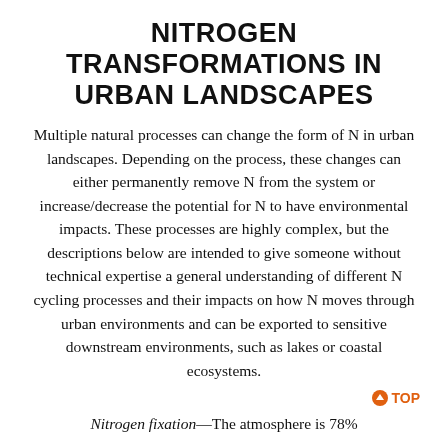NITROGEN TRANSFORMATIONS IN URBAN LANDSCAPES
Multiple natural processes can change the form of N in urban landscapes. Depending on the process, these changes can either permanently remove N from the system or increase/decrease the potential for N to have environmental impacts. These processes are highly complex, but the descriptions below are intended to give someone without technical expertise a general understanding of different N cycling processes and their impacts on how N moves through urban environments and can be exported to sensitive downstream environments, such as lakes or coastal ecosystems.
↑ TOP
Nitrogen fixation—The atmosphere is 78%